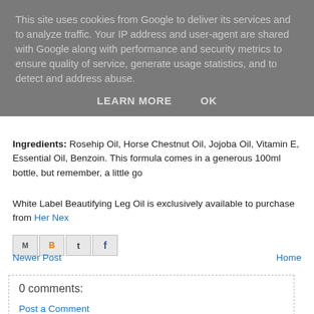This site uses cookies from Google to deliver its services and to analyze traffic. Your IP address and user-agent are shared with Google along with performance and security metrics to ensure quality of service, generate usage statistics, and to detect and address abuse.
LEARN MORE   OK
Ingredients: Rosehip Oil, Horse Chestnut Oil, Jojoba Oil, Vitamin E, Essential Oil, Benzoin. This formula comes in a generous 100ml bottle, but remember, a little go
White Label Beautifying Leg Oil is exclusively available to purchase from Her Nex
[Figure (other): Social share buttons: Email, Blogger, Twitter, Facebook]
Newer Post    Home
0 comments:
Post a Comment